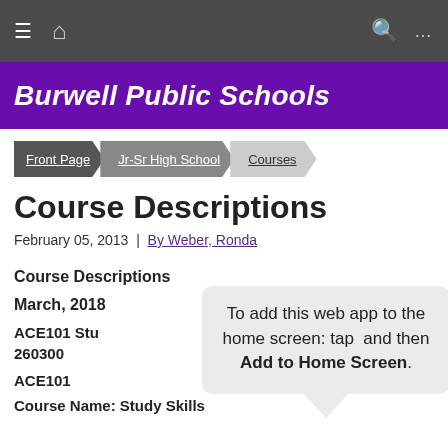Burwell Public Schools
Front Page > Jr-Sr High School > Courses
Course Descriptions
February 05, 2013 | By Weber, Ronda
Course Descriptions
March, 2018
ACE101 Stu
260300
ACE101
Course Name: Study Skills
[Figure (screenshot): Popup tooltip: 'To add this web app to the home screen: tap and then Add to Home Screen.' with close X button and caret arrow pointing down.]